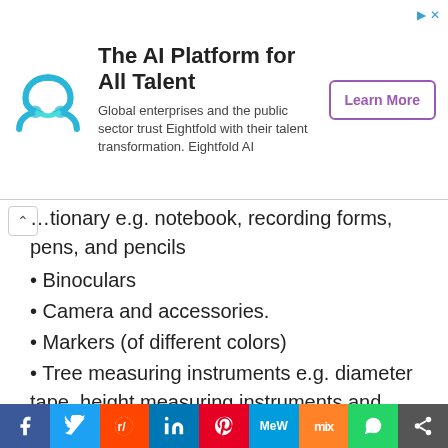[Figure (other): Advertisement banner: Eightfold AI logo, title 'The AI Platform for All Talent', body text 'Global enterprises and the public sector trust Eightfold with their talent transformation. Eightfold AI', and 'Learn More' button]
...tionary e.g. notebook, recording forms, pens, and pencils
Binoculars
Camera and accessories.
Markers (of different colors)
Tree measuring instruments e.g. diameter tape, height measuring instruments and length measuring tape.
Compass
Altimeter
Hand lens
Seed bags
Seed collecting instruments, saws, strings, ropes.
[Figure (other): Social media sharing bar with Facebook, Twitter, Reddit, LinkedIn, Pinterest, MeWe, Mix, WhatsApp, and share buttons]